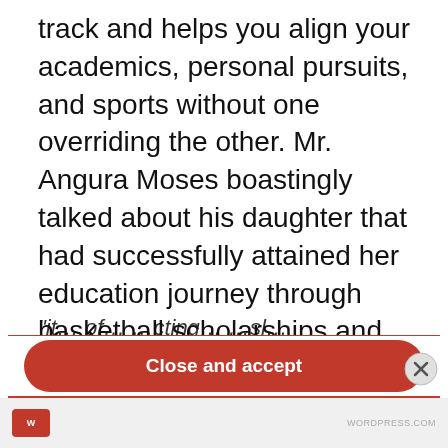track and helps you align your academics, personal pursuits, and sports without one overriding the other. Mr. Angura Moses boastingly talked about his daughter that had successfully attained her education journey through basketball scholarships and has always struck a great balance between her academics and sports life. He called on fellow parents to support their daughter's ambitions in sports as it has much more to offer than what one perceives about sports.
Privacy & Cookies: This site uses cookies. By continuing to use this website, you agree to their use. To find out more, including how to control cookies, see here: Cookie Policy
Close and accept